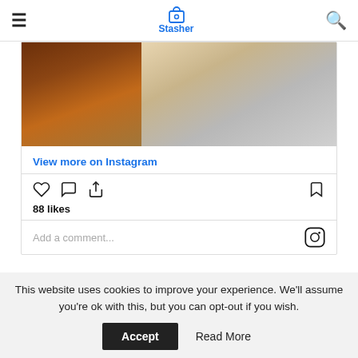Stasher
[Figure (photo): Instagram post showing food dishes - a bread bowl with toppings on the left and pastries on a cooling rack on the right]
View more on Instagram
88 likes
Add a comment...
A hidden gem on the Regents Canal, The Barge House has the perfect canalside dining. Perfect for breakfast.
This website uses cookies to improve your experience. We'll assume you're ok with this, but you can opt-out if you wish.
Accept   Read More